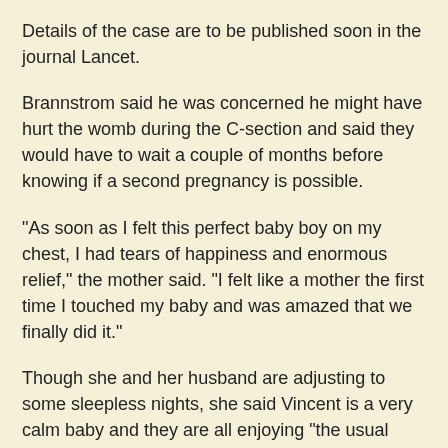Details of the case are to be published soon in the journal Lancet.
Brannstrom said he was concerned he might have hurt the womb during the C-section and said they would have to wait a couple of months before knowing if a second pregnancy is possible.
"As soon as I felt this perfect baby boy on my chest, I had tears of happiness and enormous relief," the mother said. "I felt like a mother the first time I touched my baby and was amazed that we finally did it."
Though she and her husband are adjusting to some sleepless nights, she said Vincent is a very calm baby and they are all enjoying "the usual amazing moments" new parents experience.
She acknowledged that taking the anti-rejection medicines isn't easy.